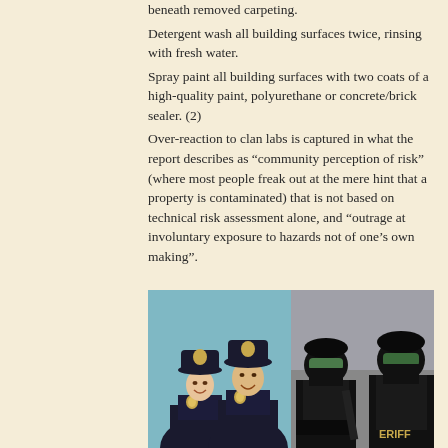beneath removed carpeting. Detergent wash all building surfaces twice, rinsing with fresh water. Spray paint all building surfaces with two coats of a high-quality paint, polyurethane or concrete/brick sealer. (2) Over-reaction to clan labs is captured in what the report describes as “community perception of risk” (where most people freak out at the mere hint that a property is contaminated) that is not based on technical risk assessment alone, and “outrage at involuntary exposure to hazards not of one’s own making”.
[Figure (photo): Left half: two police officers in traditional dark uniforms and caps, smiling. Right half: two SWAT/tactical officers in full black gear including helmets, masks, and tactical equipment.]